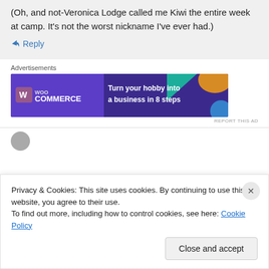(Oh, and not-Veronica Lodge called me Kiwi the entire week at camp. It's not the worst nickname I've ever had.)
↳ Reply
Advertisements
[Figure (screenshot): WooCommerce advertisement banner: 'Turn your hobby into a business in 8 steps' on dark purple background with colorful geometric shapes]
REPORT THIS AD
Privacy & Cookies: This site uses cookies. By continuing to use this website, you agree to their use.
To find out more, including how to control cookies, see here: Cookie Policy
Close and accept